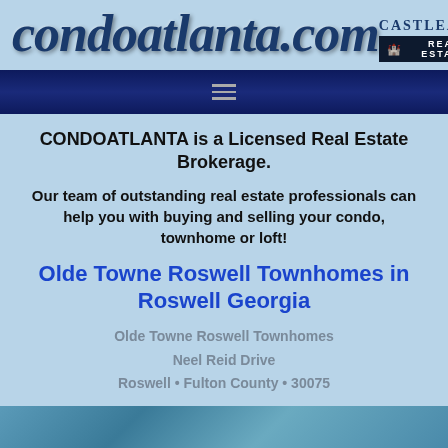[Figure (logo): condoatlanta.com logo in large italic serif blue font with CastleAire Real Estate badge on the right]
[Figure (other): Dark navy navigation bar with hamburger menu icon]
CONDOATLANTA is a Licensed Real Estate Brokerage.
Our team of outstanding real estate professionals can help you with buying and selling your condo, townhome or loft!
Olde Towne Roswell Townhomes in Roswell Georgia
Olde Towne Roswell Townhomes
Neel Reid Drive
Roswell • Fulton County • 30075
[Figure (photo): Partial photo strip at the bottom of the page showing a building or outdoor scene]